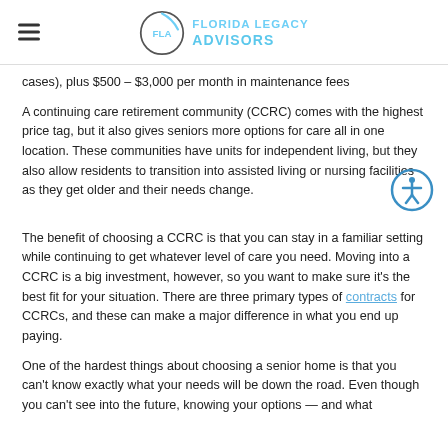FLORIDA LEGACY ADVISORS
cases), plus $500 – $3,000 per month in maintenance fees
A continuing care retirement community (CCRC) comes with the highest price tag, but it also gives seniors more options for care all in one location. These communities have units for independent living, but they also allow residents to transition into assisted living or nursing facilities as they get older and their needs change.
The benefit of choosing a CCRC is that you can stay in a familiar setting while continuing to get whatever level of care you need. Moving into a CCRC is a big investment, however, so you want to make sure it's the best fit for your situation. There are three primary types of contracts for CCRCs, and these can make a major difference in what you end up paying.
One of the hardest things about choosing a senior home is that you can't know exactly what your needs will be down the road. Even though you can't see into the future, knowing your options — and what